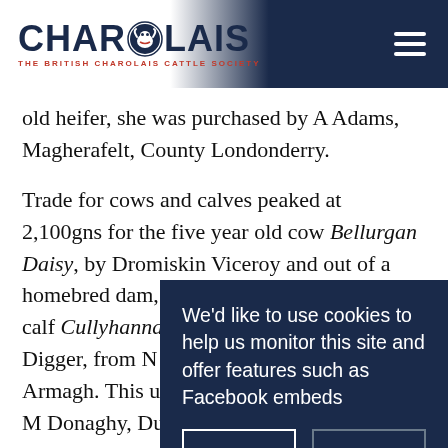CHAROLAIS – THE BRITISH CHAROLAIS CATTLE SOCIETY
old heifer, she was purchased by A Adams, Magherafelt, County Londonderry.
Trade for cows and calves peaked at 2,100gns for the five year old cow Bellurgan Daisy, by Dromiskin Viceroy and out of a homebred dam, and her two month old bull calf Cullyhanna Hanluan, sired by Blelack Digger, from N Quinn, Newry, County Armagh. This unit was knocked down sold to M Donaghy, Dungannon, County Tyrone.
Averages: 48 bulls… £2,596.73; two co…
Categories: Dungan…
« Charolais lead Tha…
[Figure (screenshot): Cookie consent popup overlay with dark navy background. Text: 'We'd like to use cookies to help us monitor this site and offer features such as Facebook embeds'. Two buttons: 'OK' (bordered white) and 'Decline' (bordered grey).]